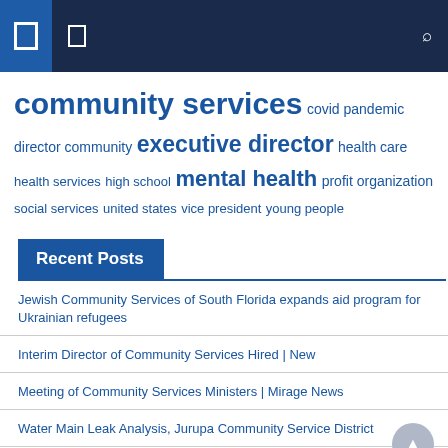Navigation bar with icons
[Figure (infographic): Tag cloud with community services topics in varying font sizes. Tags include: community services (largest), covid pandemic, director community, executive director, health care, health services, high school, mental health, profit organization, social services, united states, vice president, young people]
Recent Posts
Jewish Community Services of South Florida expands aid program for Ukrainian refugees
Interim Director of Community Services Hired | New
Meeting of Community Services Ministers | Mirage News
Water Main Leak Analysis, Jurupa Community Service District